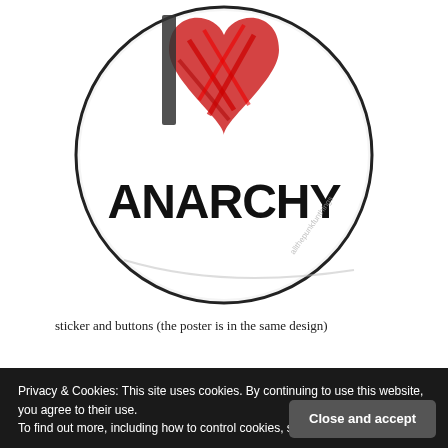[Figure (photo): A circular badge/button showing an anarchy design: a white circular background with a red jagged heart graphic at the top and bold black text reading 'ANARCHY' across the middle. A diagonal watermark/signature text runs across the lower right of the circle.]
sticker and buttons (the poster is in the same design)
Privacy & Cookies: This site uses cookies. By continuing to use this website, you agree to their use.
To find out more, including how to control cookies, see here: Cookie Policy